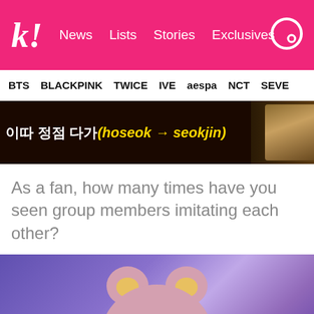k! News  Lists  Stories  Exclusives
BTS  BLACKPINK  TWICE  IVE  aespa  NCT  SEVE
[Figure (screenshot): Video thumbnail showing Korean text and yellow italic text '(hoseok → seokjin)' with a person in background]
As a fan, how many times have you seen group members imitating each other?
[Figure (photo): Person wearing a pink fluffy bear hat with round ears against a purple background]